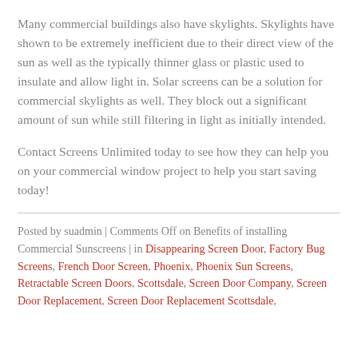Many commercial buildings also have skylights. Skylights have shown to be extremely inefficient due to their direct view of the sun as well as the typically thinner glass or plastic used to insulate and allow light in. Solar screens can be a solution for commercial skylights as well. They block out a significant amount of sun while still filtering in light as initially intended.
Contact Screens Unlimited today to see how they can help you on your commercial window project to help you start saving today!
Posted by suadmin | Comments Off on Benefits of installing Commercial Sunscreens | in Disappearing Screen Door, Factory Bug Screens, French Door Screen, Phoenix, Phoenix Sun Screens, Retractable Screen Doors, Scottsdale, Screen Door Company, Screen Door Replacement, Screen Door Replacement Scottsdale,